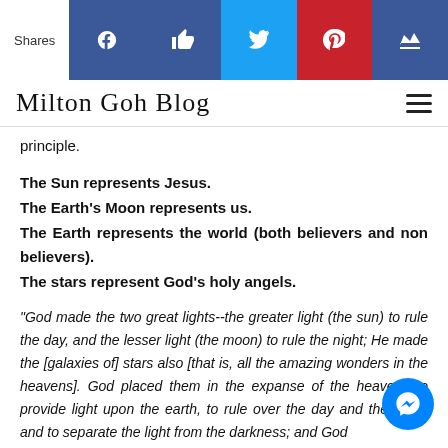Shares [Facebook] [Like] [Twitter] [Pinterest] [Crown]
Milton Goh Blog
principle.
The Sun represents Jesus.
The Earth's Moon represents us.
The Earth represents the world (both believers and non believers).
The stars represent God's holy angels.
“God made the two great lights--the greater light (the sun) to rule the day, and the lesser light (the moon) to rule the night; He made the [galaxies of] stars also [that is, all the amazing wonders in the heavens]. God placed them in the expanse of the heavens to provide light upon the earth, to rule over the day and the night, and to separate the light from the darkness; and God